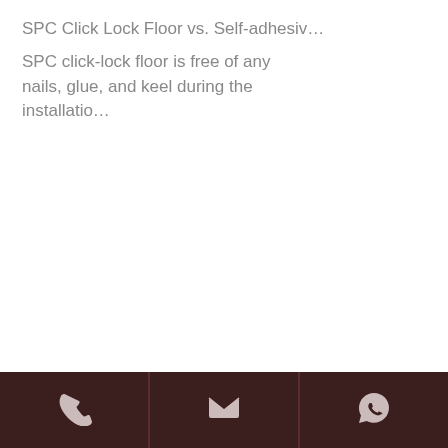SPC Click Lock Floor vs. Self-adhesiv…
SPC click-lock floor is free of any nails, glue, and keel during the installatio…
Phone | Email | WhatsApp contact icons